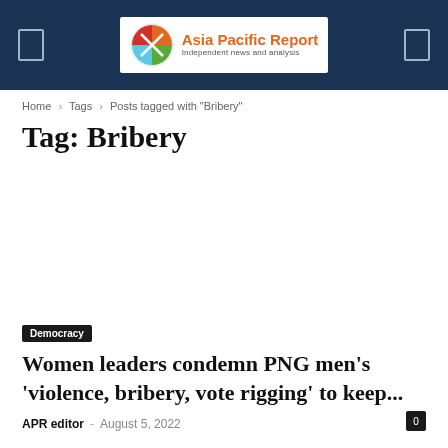Asia Pacific Report — Independent news and analysis
Home › Tags › Posts tagged with "Bribery"
Tag: Bribery
Democracy
Women leaders condemn PNG men's 'violence, bribery, vote rigging' to keep...
APR editor — August 5, 2022